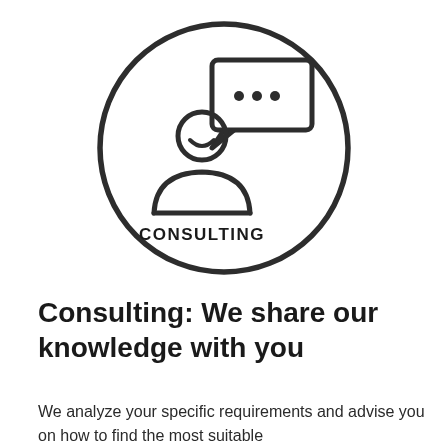[Figure (illustration): Circle outline icon containing a person/consultant silhouette with a speech bubble showing three dots (ellipsis), and the word CONSULTING in bold caps at the bottom inside the circle.]
Consulting: We share our knowledge with you
We analyze your specific requirements and advise you on how to find the most suitable